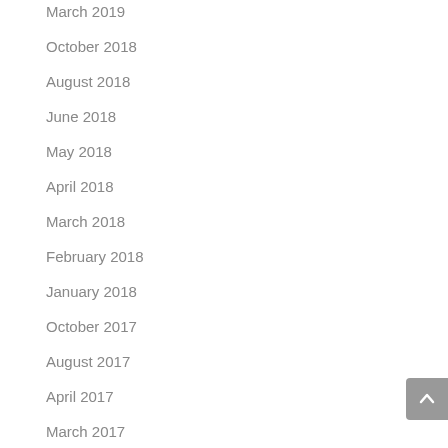March 2019
October 2018
August 2018
June 2018
May 2018
April 2018
March 2018
February 2018
January 2018
October 2017
August 2017
April 2017
March 2017
January 2017
November 2016